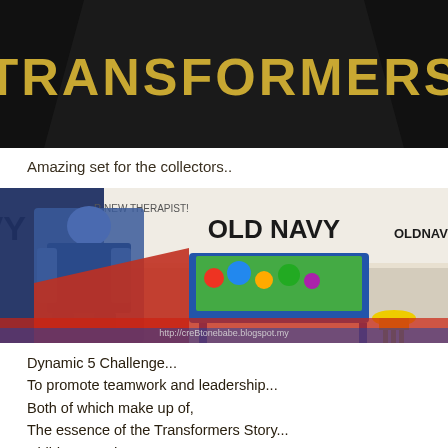[Figure (photo): Photo of a Transformers branded sign/display with large yellow TRANSFORMERS text on dark background in what appears to be a retail or exhibition setting]
Amazing set for the collectors..
[Figure (photo): Photo of a Transformers promotional display at what appears to be a shopping mall, showing a life-size Transformer character cutout, Old Navy signage in background, interactive table display with colorful toys, and a small yellow stool. URL watermark: http://creBtonebabe.blogspot.my]
Dynamic 5 Challenge...
To promote teamwork and leadership...
Both of which make up of,
The essence of the Transformers Story...
Children aged 5-12,